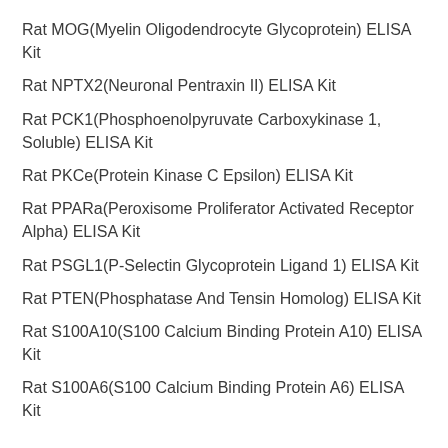Rat MOG(Myelin Oligodendrocyte Glycoprotein) ELISA Kit
Rat NPTX2(Neuronal Pentraxin II) ELISA Kit
Rat PCK1(Phosphoenolpyruvate Carboxykinase 1, Soluble) ELISA Kit
Rat PKCe(Protein Kinase C Epsilon) ELISA Kit
Rat PPARa(Peroxisome Proliferator Activated Receptor Alpha) ELISA Kit
Rat PSGL1(P-Selectin Glycoprotein Ligand 1) ELISA Kit
Rat PTEN(Phosphatase And Tensin Homolog) ELISA Kit
Rat S100A10(S100 Calcium Binding Protein A10) ELISA Kit
Rat S100A6(S100 Calcium Binding Protein A6) ELISA Kit